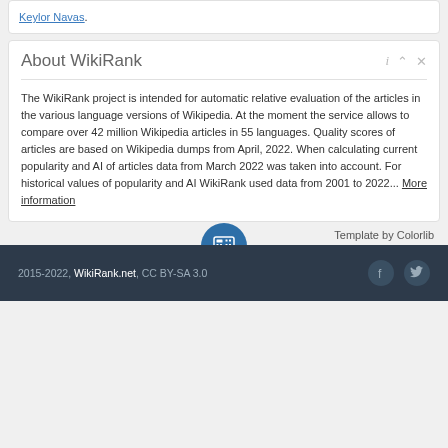Keylor Navas.
About WikiRank
The WikiRank project is intended for automatic relative evaluation of the articles in the various language versions of Wikipedia. At the moment the service allows to compare over 42 million Wikipedia articles in 55 languages. Quality scores of articles are based on Wikipedia dumps from April, 2022. When calculating current popularity and AI of articles data from March 2022 was taken into account. For historical values of popularity and AI WikiRank used data from 2001 to 2022... More information
Template by Colorlib
2015-2022, WikiRank.net, CC BY-SA 3.0